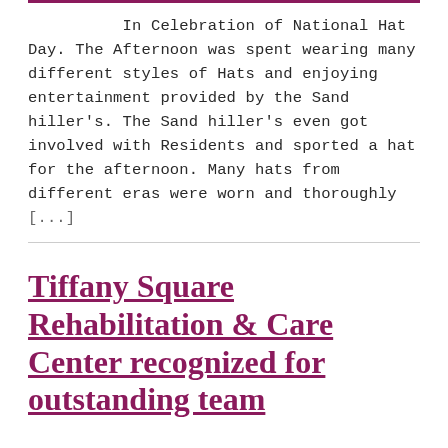In Celebration of National Hat Day. The Afternoon was spent wearing many different styles of Hats and enjoying entertainment provided by the Sand hiller's. The Sand hiller's even got involved with Residents and sported a hat for the afternoon. Many hats from different eras were worn and thoroughly [...]
Tiffany Square Rehabilitation & Care Center recognized for outstanding team